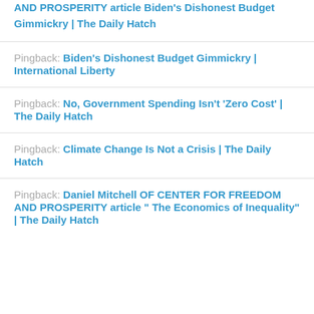AND PROSPERITY article Biden's Dishonest Budget Gimmickry | The Daily Hatch
Pingback: Biden's Dishonest Budget Gimmickry | International Liberty
Pingback: No, Government Spending Isn't 'Zero Cost'  | The Daily Hatch
Pingback: Climate Change Is Not a Crisis  | The Daily Hatch
Pingback: Daniel Mitchell OF CENTER FOR FREEDOM AND PROSPERITY article " The Economics of Inequality" | The Daily Hatch